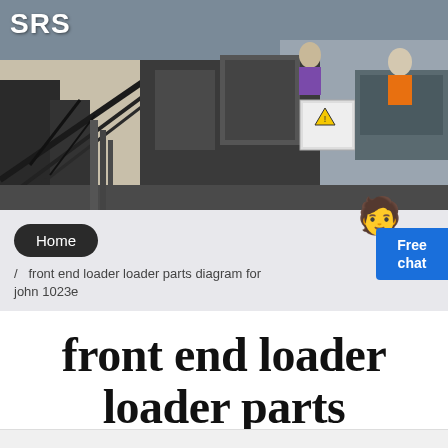[Figure (photo): Industrial machinery photo showing heavy equipment, conveyor belts, and structures at a worksite. Workers visible in background with orange safety vests. White building in background.]
SRS
Home / front end loader loader parts diagram forks john 1023e
front end loader loader parts diagram forks john 1023e